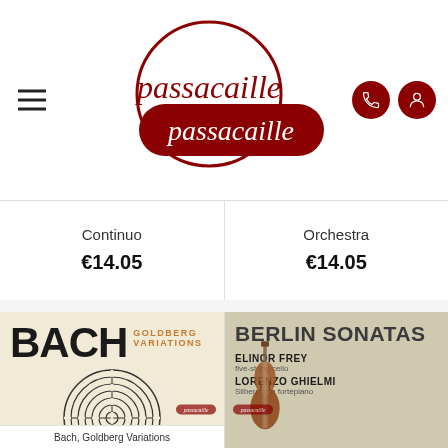[Figure (logo): Passacaille music store logo with circular emblem and dark red rounded rectangle background, with hamburger menu icon on left and phone/user icons on right]
Continuo
€14.05
Orchestra
€14.05
[Figure (photo): Bach Goldberg Variations album cover by Michel Kiener, harpsichord. Beige background with large BACH text, labyrinth circular design, and GOLDBERG VARIATIONS in orange text.]
[Figure (photo): Berlin Sonatas album cover featuring Elinor Frey on five-string cello and Lorenzo Ghielmi on Silbermann fortepiano, with a cello and a seated woman in the background.]
Bach, Goldberg Variations